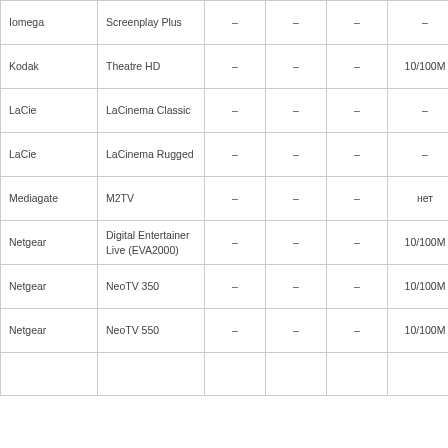| Iomega | Screenplay Plus | – | – | – | – | – |
| Kodak | Theatre HD | – | – | – | 10/100M | 802.11 |
| LaCie | LaCinema Classic | – | – | – | – | – |
| LaCie | LaCinema Rugged | – | – | – | – | – |
| Mediagate | M2TV | – | – | – | нет | – |
| Netgear | Digital Entertainer Live (EVA2000) | – | – | – | 10/100M | (В/У 802.11 |
| Netgear | NeoTV 350 | – | – | – | 10/100M | (В/У 802.11 |
| Netgear | NeoTV 550 | – | – | – | 10/100M | (В/У 802.11 |
|  |  |  |  |  |  |  |